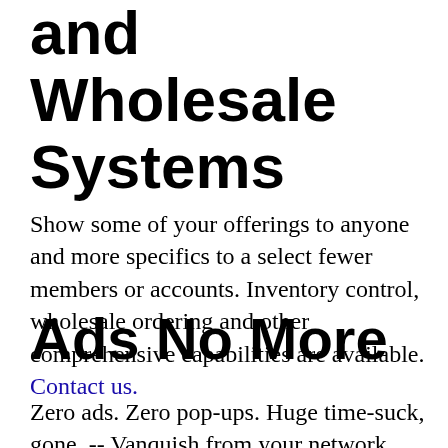and Wholesale Systems
Show some of your offerings to anyone and more specifics to a select fewer members or accounts. Inventory control, wholesale ordering and other comprehensive capabilities are available. Contact us.
Ads No More
Zero ads. Zero pop-ups. Huge time-suck, gone. -- Vanquish from your network